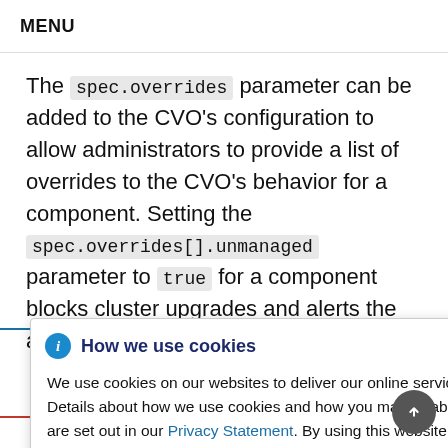MENU
The spec.overrides parameter can be added to the CVO's configuration to allow administrators to provide a list of overrides to the CVO's behavior for a component. Setting the spec.overrides[].unmanaged parameter to true for a component blocks cluster upgrades and alerts the administrator after a CVO
How we use cookies
We use cookies on our websites to deliver our online services. Details about how we use cookies and how you may disable them are set out in our Privacy Statement. By using this website you agree to our use of cookies.
Setting a CVO override puts the entire